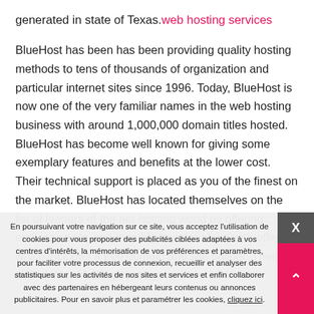generated in state of Texas. web hosting services
BlueHost has been has been providing quality hosting methods to tens of thousands of organization and particular internet sites since 1996. Today, BlueHost is now one of the very familiar names in the web hosting business with around 1,000,000 domain titles hosted. BlueHost has become well known for giving some exemplary features and benefits at the lower cost. Their technical support is placed as you of the finest on the market. BlueHost has located themselves on the list of leaders of the net hosting world by offering endless space and monthly transfer along with offer which includes a free domain and site builder. Their skilled Web Hosting strategy involves all of the
En poursuivant votre navigation sur ce site, vous acceptez l'utilisation de cookies pour vous proposer des publicités ciblées adaptées à vos centres d'intérêts, la mémorisation de vos préférences et paramètres, pour faciliter votre processus de connexion, recueillir et analyser des statistiques sur les activités de nos sites et services et enfin collaborer avec des partenaires en hébergeant leurs contenus ou annonces publicitaires. Pour en savoir plus et paramétrer les cookies, cliquez ici.